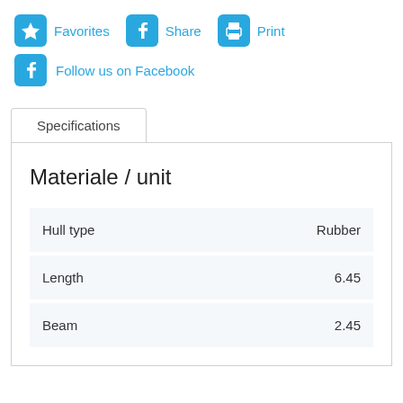Favorites
Share
Print
Follow us on Facebook
Specifications
Materiale / unit
|  |  |
| --- | --- |
| Hull type | Rubber |
| Length | 6.45 |
| Beam | 2.45 |